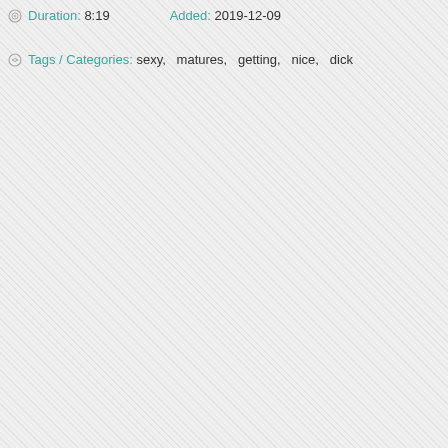Duration: 8:19    Added: 2019-12-09
Tags / Categories: sexy,  matures,  getting,  nice,  dick